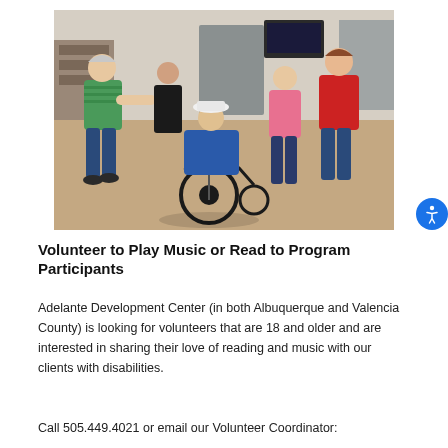[Figure (photo): People dancing and interacting in a community center. A person in a green striped shirt helps push someone in a wheelchair wearing a white hat and blue outfit. Others dance around them including a person in a red shirt and a person in a pink shirt.]
Volunteer to Play Music or Read to Program Participants
Adelante Development Center (in both Albuquerque and Valencia County) is looking for volunteers that are 18 and older and are interested in sharing their love of reading and music with our clients with disabilities.
Call 505.449.4021 or email our Volunteer Coordinator: